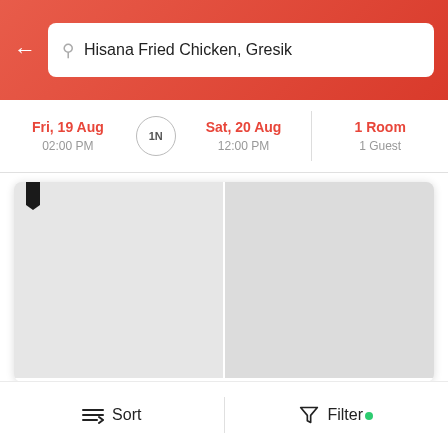Hisana Fried Chicken, Gresik
Fri, 19 Aug 02:00 PM | 1N | Sat, 20 Aug 12:00 PM | 1 Room 1 Guest
[Figure (screenshot): Hotel image area split into two panels (left and right), both gray placeholder images]
3.8 ★ | (351) W
OYO 1225 Hotel Dibino  23.5 km
Near Trans Studio Mini Surabaya, Surabaya
INDONESIA DELUXE TWIN
Sort  Filter